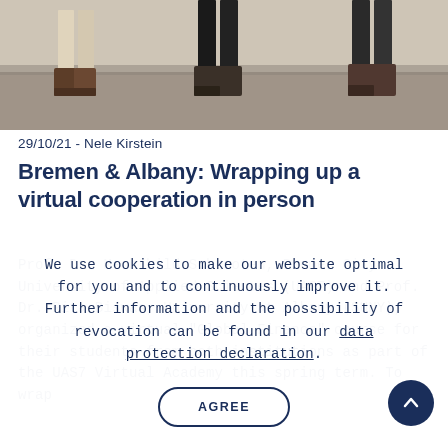[Figure (photo): Photo showing people's legs and feet standing on a light-colored floor, cropped at the top of the page]
29/10/21 - Nele Kirstein
Bremen & Albany: Wrapping up a virtual cooperation in person
Prof. Dr. Mechthild Schrooten, Bremen City University of Applied Sciences (UAS7) and Prof. Dr. Rita Biswas, University at Albany (SUNY), organized a virtual "Global Finance" course for their students from both institutions as part of the UAS7 Virtual Academy this spring term. To wrap
We use cookies to make our website optimal for you and to continuously improve it. Further information and the possibility of revocation can be found in our data protection declaration.